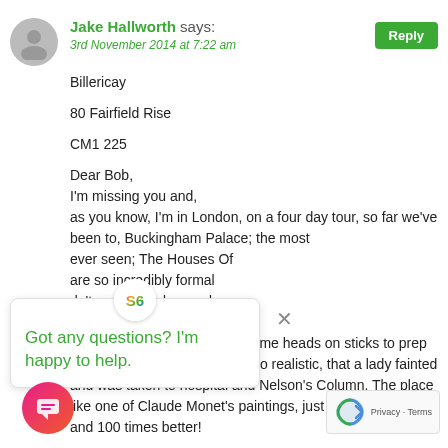Jake Hallworth says:
3rd November 2014 at 7:22 am
Billericay

80 Fairfield Rise

CM1 225

Dear Bob,
I'm missing you and,
as you know, I'm in London, on a four day tour, so far we've been to, Buckingham Palace; the most ever seen; The Houses Of are so incredibly formal dn't understand a word idge, The Tower Of ut that is that they've put up some heads on sticks to prep for bonfire night and they are so realistic, that a lady fainted and was taken to hospital and Nelson's Column. The place like one of Claude Monet's paintings, just not Lilly Pads and 100 times better!
Got any questions? I'm happy to help.
[Figure (logo): S6 circular logo with colorful design]
[Figure (illustration): Pink/red circular chat button icon]
[Figure (illustration): reCAPTCHA badge with Privacy - Terms text]